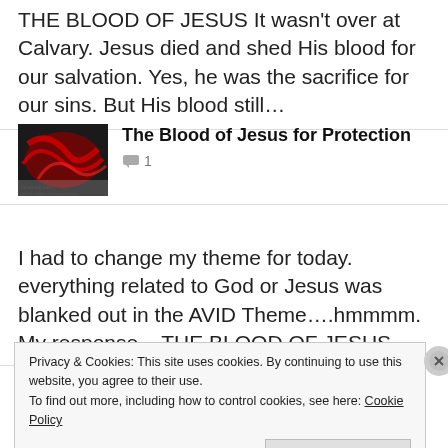THE BLOOD OF JESUS It wasn't over at Calvary. Jesus died and shed His blood for our salvation. Yes, he was the sacrifice for our sins. But His blood still…
[Figure (illustration): Red swirling blood-like abstract image on dark background, used as article thumbnail]
The Blood of Jesus for Protection
💬 1
I had to change my theme for today. everything related to God or Jesus was blanked out in the AVID Theme….hmmmm. My response – THE BLOOD OF JESUS…
Deliverance prayers
Privacy & Cookies: This site uses cookies. By continuing to use this website, you agree to their use.
To find out more, including how to control cookies, see here: Cookie Policy
Close and accept